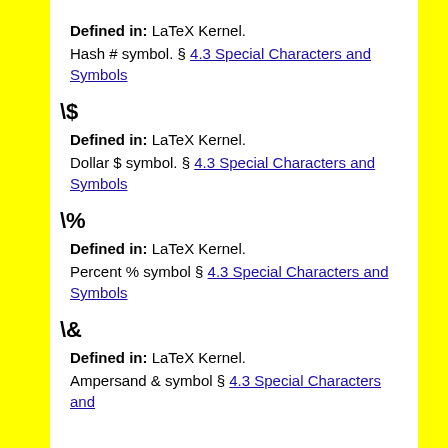Defined in: LaTeX Kernel.
Hash # symbol. § 4.3 Special Characters and Symbols
\$
Defined in: LaTeX Kernel.
Dollar $ symbol. § 4.3 Special Characters and Symbols
\%
Defined in: LaTeX Kernel.
Percent % symbol § 4.3 Special Characters and Symbols
\&
Defined in: LaTeX Kernel.
Ampersand & symbol § 4.3 Special Characters and Symbols